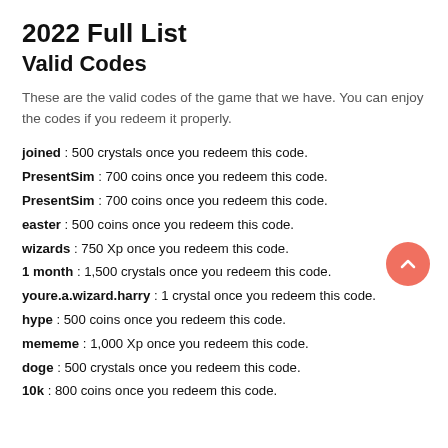2022 Full List
Valid Codes
These are the valid codes of the game that we have. You can enjoy the codes if you redeem it properly.
joined : 500 crystals once you redeem this code.
PresentSim : 700 coins once you redeem this code.
PresentSim : 700 coins once you redeem this code.
easter : 500 coins once you redeem this code.
wizards : 750 Xp once you redeem this code.
1 month : 1,500 crystals once you redeem this code.
youre.a.wizard.harry : 1 crystal once you redeem this code.
hype : 500 coins once you redeem this code.
mememe : 1,000 Xp once you redeem this code.
doge : 500 crystals once you redeem this code.
10k : 800 coins once you redeem this code.